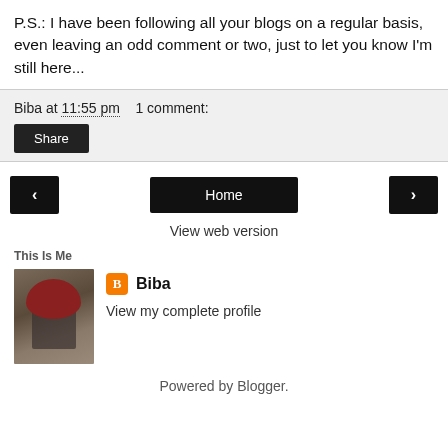P.S.: I have been following all your blogs on a regular basis, even leaving an odd comment or two, just to let you know I'm still here...
Biba at 11:55 pm   1 comment:
Share
‹   Home   ›
View web version
This Is Me
Biba
View my complete profile
Powered by Blogger.